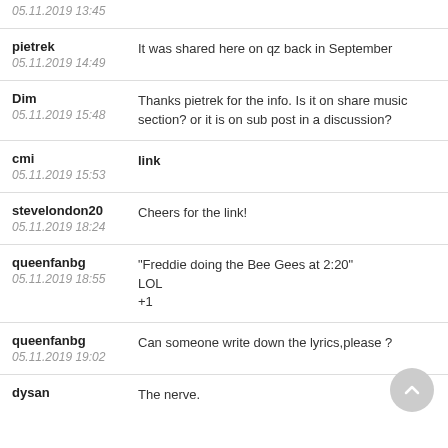05.11.2019 13:45
pietrek
05.11.2019 14:49
It was shared here on qz back in September
Dim
05.11.2019 15:48
Thanks pietrek for the info. Is it on share music section? or it is on sub post in a discussion?
cmi
05.11.2019 15:53
link
stevelondon20
05.11.2019 18:24
Cheers for the link!
queenfanbg
05.11.2019 18:55
"Freddie doing the Bee Gees at 2:20"
LOL
+1
queenfanbg
05.11.2019 19:02
Can someone write down the lyrics,please ?
dysan
The nerve.